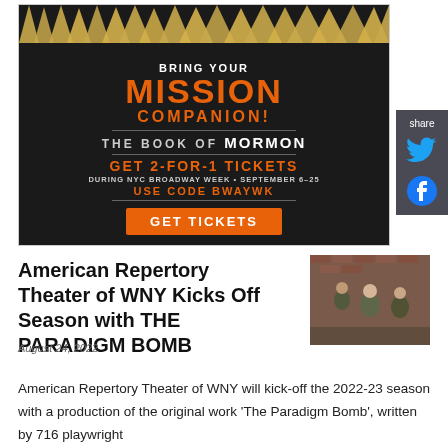[Figure (illustration): Advertisement for The Book of Mormon musical. Gold spike decorations on dark background at top. Text reads: BRING YOUR MISSION COMPANION! THE BOOK OF MORMON. GET 2-FOR-1 TICKETS DURING NYC BROADWAY WEEK • SEPTEMBER 6-25. USE CODE BWAYWK. GET TICKETS button in orange.]
American Repertory Theater of WNY Kicks Off Season with THE PARADIGM BOMB
August 24, 2022
[Figure (photo): Photo of three people standing in front of a brick wall background, appears to be cast or production photo for the play.]
American Repertory Theater of WNY will kick-off the 2022-23 season with a production of the original work 'The Paradigm Bomb', written by 716 playwright